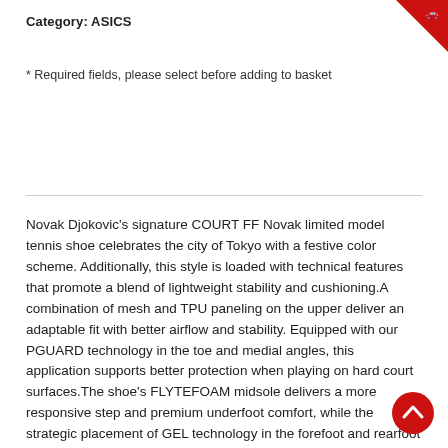Category: ASICS
* Required fields, please select before adding to basket
Novak Djokovic's signature COURT FF Novak limited model tennis shoe celebrates the city of Tokyo with a festive color scheme. Additionally, this style is loaded with technical features that promote a blend of lightweight stability and cushioning.A combination of mesh and TPU paneling on the upper deliver an adaptable fit with better airflow and stability. Equipped with our PGUARD technology in the toe and medial angles, this application supports better protection when playing on hard court surfaces.The shoe's FLYTEFOAM midsole delivers a more responsive step and premium underfoot comfort, while the strategic placement of GEL technology in the forefoot and rearfoot delivers advanced cushioning during harsh